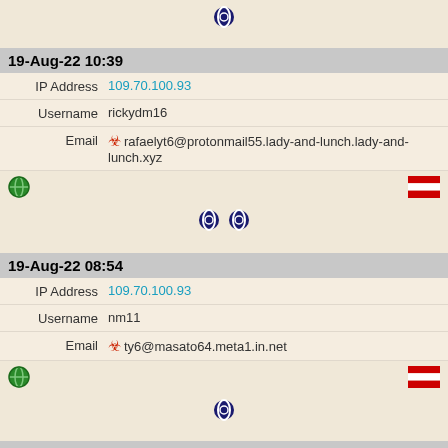[Figure (screenshot): Web app log entries showing login records with timestamps, IP addresses, usernames, emails, browser/OS icons, and country flags]
19-Aug-22 10:39
IP Address  109.70.100.93
Username  rickydm16
Email  ☣ rafaelyt6@protonmail55.lady-and-lunch.lady-and-lunch.xyz
19-Aug-22 08:54
IP Address  109.70.100.93
Username  nm11
Email  ☣ ty6@masato64.meta1.in.net
19-Aug-22 04:50
IP Address  109.70.100.93
Username  tamekaev69